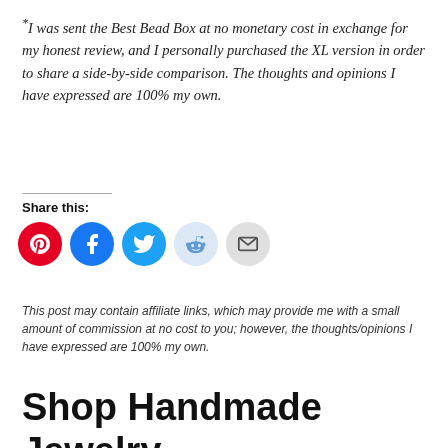*I was sent the Best Bead Box at no monetary cost in exchange for my honest review, and I personally purchased the XL version in order to share a side-by-side comparison. The thoughts and opinions I have expressed are 100% my own.
Share this:
[Figure (infographic): Row of five circular social share buttons: Pinterest (red), Facebook (blue), Twitter (light blue), Reddit (light blue), Email (light gray)]
This post may contain affiliate links, which may provide me with a small amount of commission at no cost to you; however, the thoughts/opinions I have expressed are 100% my own.
Shop Handmade Jewelry by Category: